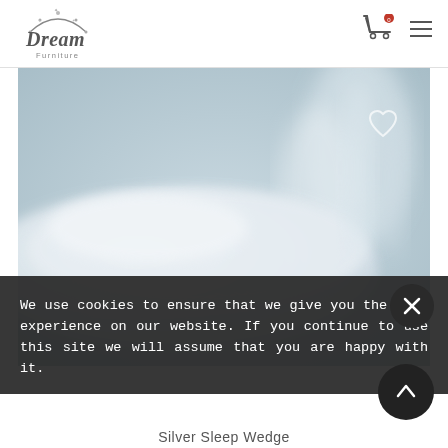[Figure (logo): Dream Furniture logo with decorative arc and stars above stylized text]
[Figure (photo): Blurred close-up photo of a white sleep wedge pillow on a light blue-grey background with a heart/wishlist icon in the upper right]
We use cookies to ensure that we give you the best experience on our website. If you continue to use this site we will assume that you are happy with it.
Silver Sleep Wedge